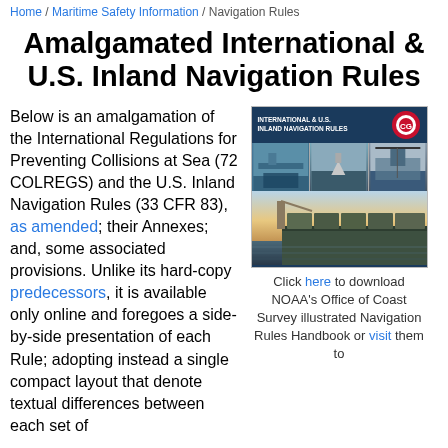Home / Maritime Safety Information / Navigation Rules
Amalgamated International & U.S. Inland Navigation Rules
Below is an amalgamation of the International Regulations for Preventing Collisions at Sea (72 COLREGS) and the U.S. Inland Navigation Rules (33 CFR 83), as amended; their Annexes; and, some associated provisions. Unlike its hard-copy predecessors, it is available only online and foregoes a side-by-side presentation of each Rule; adopting instead a single compact layout that denote textual differences between each set of
[Figure (photo): Cover image of the International & U.S. Inland Navigation Rules handbook, showing a dark blue header bar with title text and Coast Guard logo, three maritime photos in a row (ships, aircraft, bridge), and a large photo of a cargo ship deck at port with blue sky and water.]
Click here to download NOAA's Office of Coast Survey illustrated Navigation Rules Handbook or visit them to